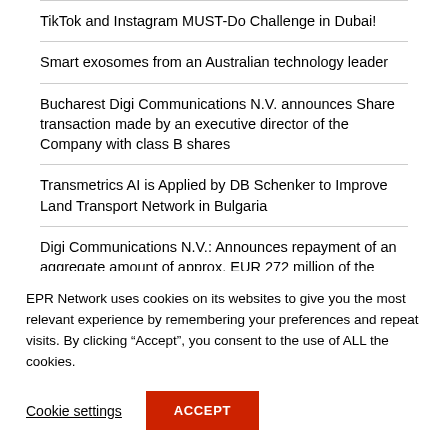TikTok and Instagram MUST-Do Challenge in Dubai!
Smart exosomes from an Australian technology leader
Bucharest Digi Communications N.V. announces Share transaction made by an executive director of the Company with class B shares
Transmetrics AI is Applied by DB Schenker to Improve Land Transport Network in Bulgaria
Digi Communications N.V.: Announces repayment of an aggregate amount of approx. EUR 272 million of the Group’s financial debt
EPR Network uses cookies on its websites to give you the most relevant experience by remembering your preferences and repeat visits. By clicking “Accept”, you consent to the use of ALL the cookies.
Cookie settings
ACCEPT